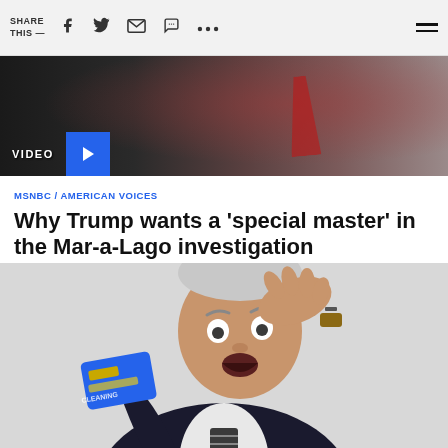SHARE THIS —
[Figure (screenshot): Video thumbnail showing a man in a suit with a red tie, dark background. Blue play button overlay. Label reads VIDEO.]
MSNBC / AMERICAN VOICES
Why Trump wants a 'special master' in the Mar-a-Lago investigation
[Figure (photo): Older man in a dark suit holding a blue credit card up, with his other hand on his head, making a surprised/confused expression. White background.]